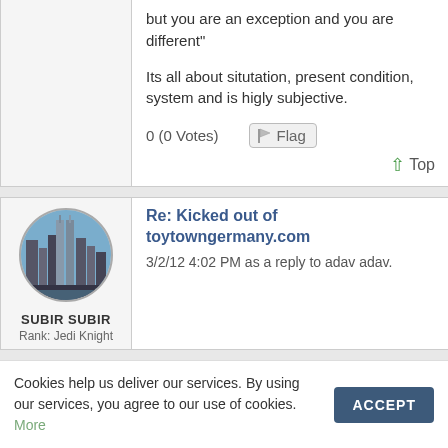but you are an exception and you are different"

Its all about situtation, present condition, system and is higly subjective.
0 (0 Votes)
Flag
Top
[Figure (photo): Circular avatar image showing city skyline with tall buildings]
SUBIR SUBIR
Rank: Jedi Knight
Re: Kicked out of toytowngermany.com
3/2/12 4:02 PM as a reply to adav adav.
Cookies help us deliver our services. By using our services, you agree to our use of cookies. More